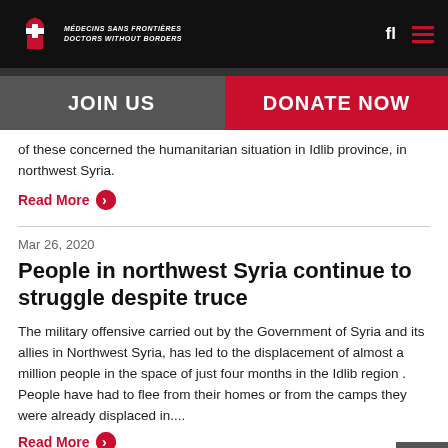Médecins Sans Frontières / Doctors Without Borders
of these concerned the humanitarian situation in Idlib province, in northwest Syria.
Read More
Mar 26, 2020
People in northwest Syria continue to struggle despite truce
The military offensive carried out by the Government of Syria and its allies in Northwest Syria, has led to the displacement of almost a million people in the space of just four months in the Idlib region . People have had to flee from their homes or from the camps they were already displaced in....
Read More
Feb 29, 2020